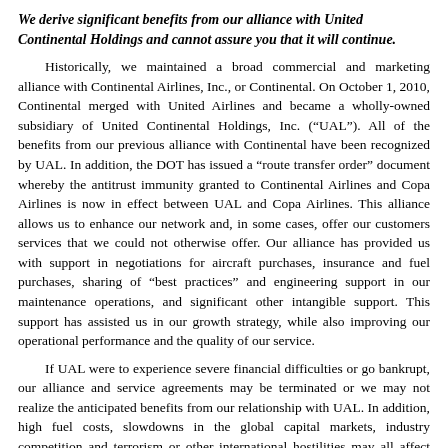We derive significant benefits from our alliance with United Continental Holdings and cannot assure you that it will continue.
Historically, we maintained a broad commercial and marketing alliance with Continental Airlines, Inc., or Continental. On October 1, 2010, Continental merged with United Airlines and became a wholly-owned subsidiary of United Continental Holdings, Inc. (“UAL”). All of the benefits from our previous alliance with Continental have been recognized by UAL. In addition, the DOT has issued a “route transfer order” document whereby the antitrust immunity granted to Continental Airlines and Copa Airlines is now in effect between UAL and Copa Airlines. This alliance allows us to enhance our network and, in some cases, offer our customers services that we could not otherwise offer. Our alliance has provided us with support in negotiations for aircraft purchases, insurance and fuel purchases, sharing of “best practices” and engineering support in our maintenance operations, and significant other intangible support. This support has assisted us in our growth strategy, while also improving our operational performance and the quality of our service.
If UAL were to experience severe financial difficulties or go bankrupt, our alliance and service agreements may be terminated or we may not realize the anticipated benefits from our relationship with UAL. In addition, high fuel costs, slowdowns in the global capital markets, industry competition and terrorism or other international hostilities may all affect UAL’s profitability. We cannot assure you that UAL will be able to sustain its profitability, and as a result, we may be materially and adversely affected by a deterioration of UAL’s financial condition.
In addition, if our alliance with UAL or our service agreements were terminated, our business, financial condition and results of operations would